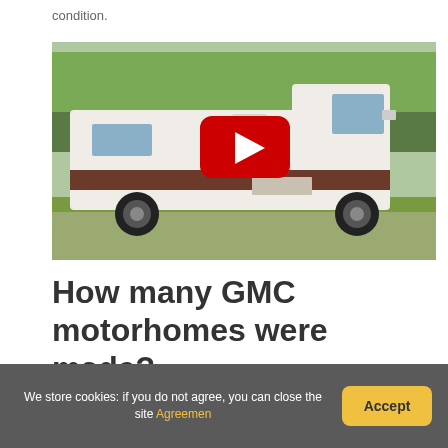condition.
[Figure (screenshot): A white GMC motorhome parked on grass with trees in background, with a YouTube play button overlay in the center.]
How many GMC motorhomes were made?
We store cookies: if you do not agree, you can close the site Agreement
Accept